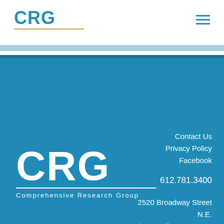[Figure (logo): CRG logo - teal/blue text 'CRG' with gold underline]
[Figure (other): Hamburger menu icon (three horizontal lines)]
[Figure (logo): CRG large white logo with 'Comprehensive Research Group' subtitle on blue background]
Contact Us
Privacy Policy
Facebook
612.781.3400
2520 Broadway Street N.E.
Minneapolis, MN 55413